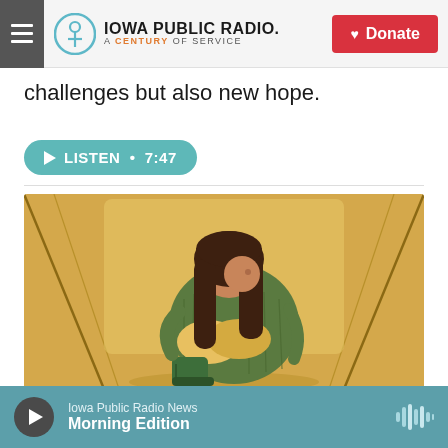Iowa Public Radio. A Century of Service. Donate
challenges but also new hope.
LISTEN • 7:47
[Figure (illustration): Illustration of a girl with long brown hair hugging her knees, wearing a green sweater and green rain boots, sitting inside what appears to be a car or tent, on an amber/golden background]
Iowa Public Radio News — Morning Edition